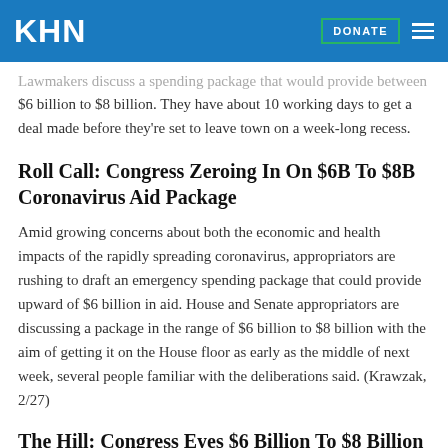KHN
Lawmakers discuss a spending package that would provide between $6 billion to $8 billion. They have about 10 working days to get a deal made before they're set to leave town on a week-long recess.
Roll Call: Congress Zeroing In On $6B To $8B Coronavirus Aid Package
Amid growing concerns about both the economic and health impacts of the rapidly spreading coronavirus, appropriators are rushing to draft an emergency spending package that could provide upward of $6 billion in aid. House and Senate appropriators are discussing a package in the range of $6 billion to $8 billion with the aim of getting it on the House floor as early as the middle of next week, several people familiar with the deliberations said. (Krawzak, 2/27)
The Hill: Congress Eyes $6 Billion To $8 Billion To Combat Coronavirus
Congress has approximately 10 working days before it is set to leave for a weeklong recess, giving lawmakers a tight timeframe